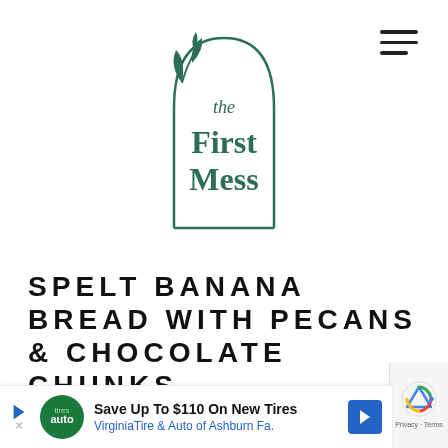[Figure (logo): The First Mess logo: an arch-shaped border with a botanical leaf sprig at the top-left outside the arch, and the text 'the First Mess' in dark teal serif font inside the arch]
SPELT BANANA BREAD WITH PECANS & CHOCOLATE CHUNKS
MARCH 18, 2020
(La…
[Figure (other): Advertisement banner: Save Up To $110 On New Tires, VirginiaTire & Auto of Ashburn Fa.]